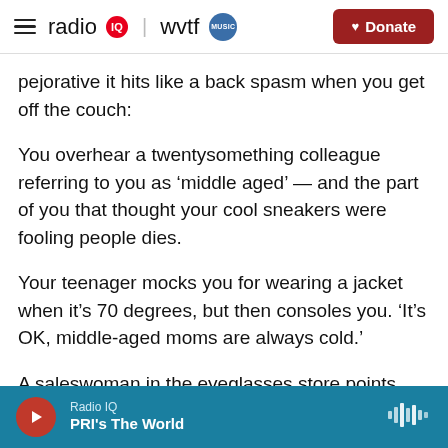radio IQ | wvtf MUSIC — Donate
pejorative it hits like a back spasm when you get off the couch:
You overhear a twentysomething colleague referring to you as ‘middle aged’ — and the part of you that thought your cool sneakers were fooling people dies.
Your teenager mocks you for wearing a jacket when it’s 70 degrees, but then consoles you. ‘It’s OK, middle-aged moms are always cold.’
A saleswoman in the eyeglasses store points you
Radio IQ — PRI's The World